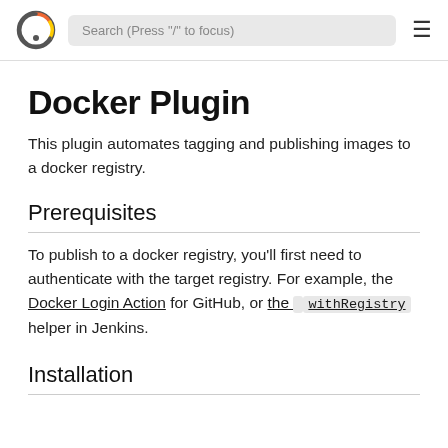Search (Press "/" to focus)
Docker Plugin
This plugin automates tagging and publishing images to a docker registry.
Prerequisites
To publish to a docker registry, you'll first need to authenticate with the target registry. For example, the Docker Login Action for GitHub, or the withRegistry helper in Jenkins.
Installation